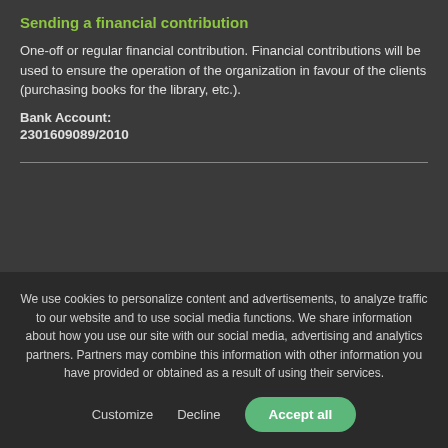Sending a financial contribution
One-off or regular financial contribution. Financial contributions will be used to ensure the operation of the organization in favour of the clients (purchasing books for the library, etc.).
Bank Account:
2301609089/2010
We use cookies to personalize content and advertisements, to analyze traffic to our website and to use social media functions. We share information about how you use our site with our social media, advertising and analytics partners. Partners may combine this information with other information you have provided or obtained as a result of using their services.